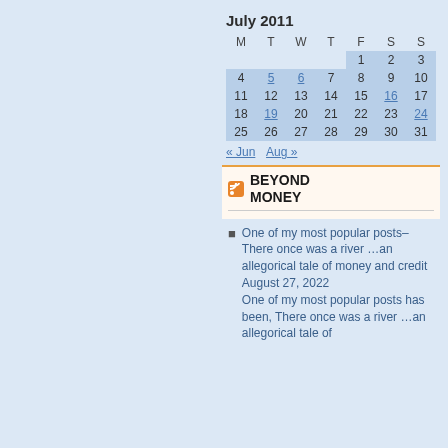| M | T | W | T | F | S | S |
| --- | --- | --- | --- | --- | --- | --- |
|  |  |  |  | 1 | 2 | 3 |
| 4 | 5 | 6 | 7 | 8 | 9 | 10 |
| 11 | 12 | 13 | 14 | 15 | 16 | 17 |
| 18 | 19 | 20 | 21 | 22 | 23 | 24 |
| 25 | 26 | 27 | 28 | 29 | 30 | 31 |
« Jun   Aug »
BEYOND MONEY
One of my most popular posts–There once was a river …an allegorical tale of money and credit August 27, 2022 One of my most popular posts has been, There once was a river …an allegorical tale of